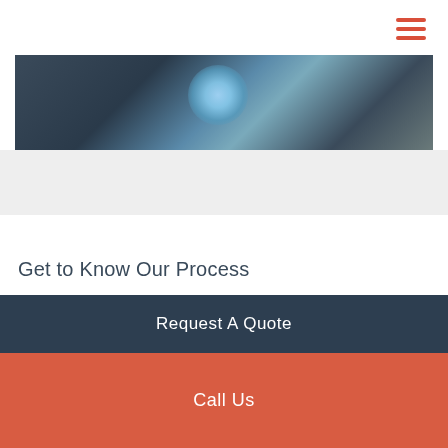[Figure (photo): Partial view of a technician or welder working with electrical arc or bright light, dark industrial setting]
Get to Know Our Process
[Figure (illustration): Circle icon with wavy lines representing communication or quote process]
1. Start the conversation with a quote request.
Request A Quote
Call Us